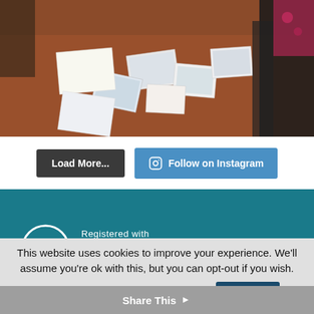[Figure (photo): A table with scattered greeting cards and papers laid on a wooden surface, with people's hands and clothing visible around the edges.]
Load More...
Follow on Instagram
[Figure (logo): Fundraising Regulator logo: white circle with FR inside, text 'Registered with FUNDRAISING REGULATOR' on teal background.]
This website uses cookies to improve your experience. We'll assume you're ok with this, but you can opt-out if you wish.
View Privacy Policy   Cookie settings   ACCEPT   ×
Share This